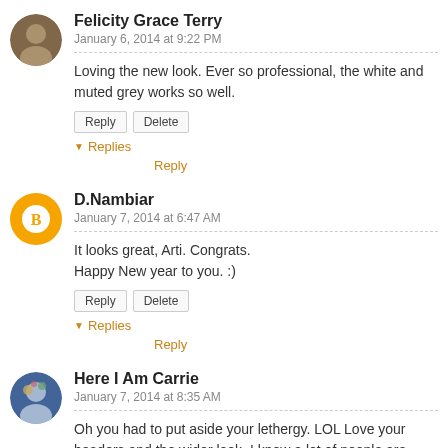Felicity Grace Terry
January 6, 2014 at 9:22 PM
Loving the new look. Ever so professional, the white and muted grey works so well.
Reply | Delete
▼ Replies
Reply
D.Nambiar
January 7, 2014 at 6:47 AM
It looks great, Arti. Congrats.
Happy New year to you. :)
Reply | Delete
▼ Replies
Reply
Here I Am Carrie
January 7, 2014 at 8:35 AM
Oh you had to put aside your lethergy. LOL Love your headers and the wider look. I know a lot of people are going for the white, but for me I like darker colored backgrounds, my eyes don't take